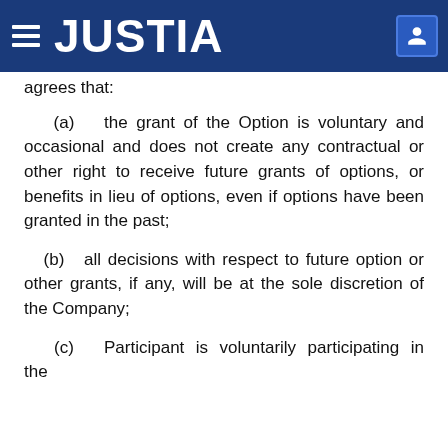JUSTIA
agrees that:
(a) the grant of the Option is voluntary and occasional and does not create any contractual or other right to receive future grants of options, or benefits in lieu of options, even if options have been granted in the past;
(b) all decisions with respect to future option or other grants, if any, will be at the sole discretion of the Company;
(c) Participant is voluntarily participating in the